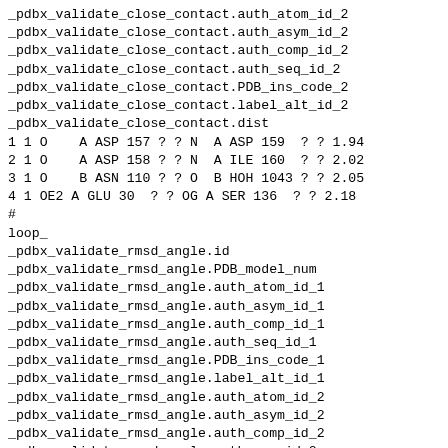_pdbx_validate_close_contact.auth_atom_id_2
_pdbx_validate_close_contact.auth_asym_id_2
_pdbx_validate_close_contact.auth_comp_id_2
_pdbx_validate_close_contact.auth_seq_id_2
_pdbx_validate_close_contact.PDB_ins_code_2
_pdbx_validate_close_contact.label_alt_id_2
_pdbx_validate_close_contact.dist
1 1 O    A ASP 157 ? ? N  A ASP 159  ? ? 1.94
2 1 O    A ASP 158 ? ? N  A ILE 160  ? ? 2.02
3 1 O    B ASN 110 ? ? O  B HOH 1043 ? ? 2.05
4 1 OE2 A GLU 30  ? ? OG A SER 136  ? ? 2.18
#
loop_
_pdbx_validate_rmsd_angle.id
_pdbx_validate_rmsd_angle.PDB_model_num
_pdbx_validate_rmsd_angle.auth_atom_id_1
_pdbx_validate_rmsd_angle.auth_asym_id_1
_pdbx_validate_rmsd_angle.auth_comp_id_1
_pdbx_validate_rmsd_angle.auth_seq_id_1
_pdbx_validate_rmsd_angle.PDB_ins_code_1
_pdbx_validate_rmsd_angle.label_alt_id_1
_pdbx_validate_rmsd_angle.auth_atom_id_2
_pdbx_validate_rmsd_angle.auth_asym_id_2
_pdbx_validate_rmsd_angle.auth_comp_id_2
_pdbx_validate_rmsd_angle.auth_seq_id_2
_pdbx_validate_rmsd_angle.PDB_ins_code_2
_pdbx_validate_rmsd_angle.label_alt_id_2
_pdbx_validate_rmsd_angle.auth_atom_id_3
_pdbx_validate_rmsd_angle.auth_asym_id_3
_pdbx_validate_rmsd_angle.auth_comp_id_3